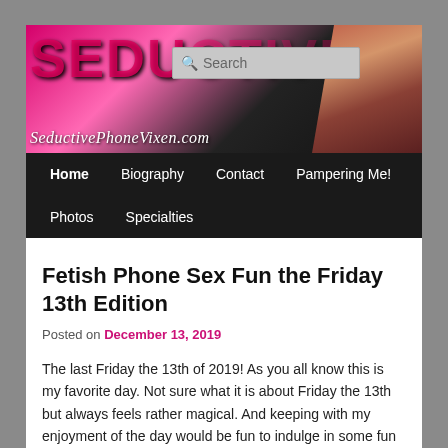[Figure (illustration): Website header banner for SeductivePhoneVixen.com with pink and dark background, large stylized text 'SEDUCTIVE' and cursive script 'SeductivePhoneVixen.com', with a photo of a woman on the right side]
[Figure (screenshot): Search input box with magnifying glass icon and placeholder text 'Search']
Home | Biography | Contact | Pampering Me! | Photos | Specialties
Fetish Phone Sex Fun the Friday 13th Edition
Posted on December 13, 2019
The last Friday the 13th of 2019! As you all know this is my favorite day. Not sure what it is about Friday the 13th but always feels rather magical. And keeping with my enjoyment of the day would be fun to indulge in some fun